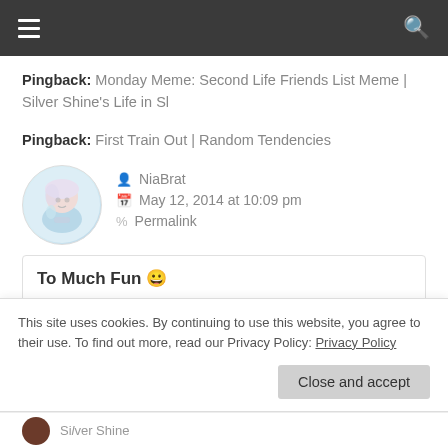Navigation bar with hamburger menu and search icon
Pingback: Monday Meme: Second Life Friends List Meme | Silver Shine's Life in Sl
Pingback: First Train Out | Random Tendencies
NiaBrat
May 12, 2014 at 10:09 pm
Permalink
To Much Fun 😀
http://randomtendencies.wordpress.com/201...
This site uses cookies. By continuing to use this website, you agree to their use. To find out more, read our Privacy Policy: Privacy Policy
Close and accept
Silver Shine